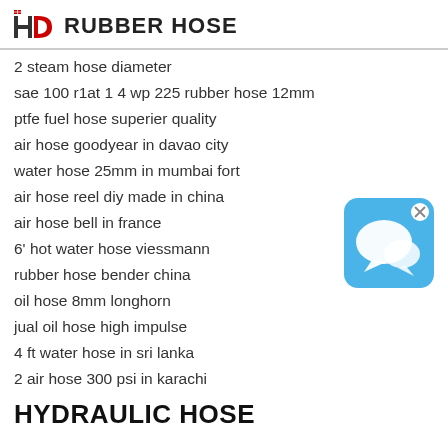HD RUBBER HOSE
2 steam hose diameter
sae 100 r1at 1 4 wp 225 rubber hose 12mm
ptfe fuel hose superier quality
air hose goodyear in davao city
water hose 25mm in mumbai fort
air hose reel diy made in china
air hose bell in france
6' hot water hose viessmann
rubber hose bender china
oil hose 8mm longhorn
jual oil hose high impulse
4 ft water hose in sri lanka
2 air hose 300 psi in karachi
[Figure (illustration): Blue chat/messaging app icon with speech bubble and a small X close button in the top-right corner]
HYDRAULIC HOSE